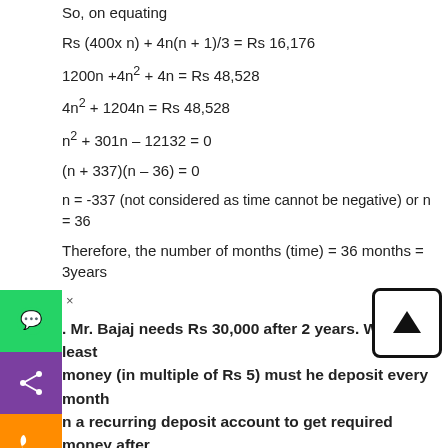So, on equating
n = -337 (not considered as time cannot be negative) or n = 36
Therefore, the number of months (time) = 36 months = 3years
Mr. Bajaj needs Rs 30,000 after 2 years. What least money (in multiple of Rs 5) must he deposit every month in a recurring deposit account to get required money after years, the rate of interest being 8% p.a.?
Solution:
Let's assume the installment per month to be Rs P
Number of months (n) = 24
Rate of interest = 8% p.a.